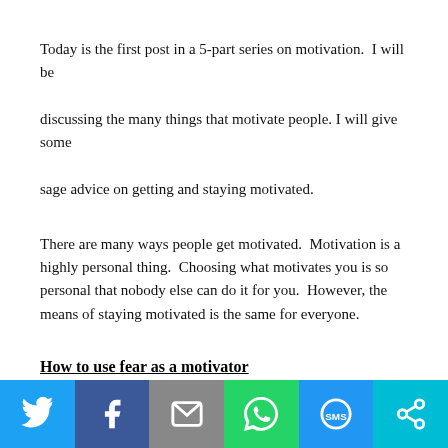Today is the first post in a 5-part series on motivation.  I will be discussing the many things that motivate people. I will give some sage advice on getting and staying motivated.
There are many ways people get motivated.  Motivation is a highly personal thing.  Choosing what motivates you is so personal that nobody else can do it for you.  However, the means of staying motivated is the same for everyone.
How to use fear as a motivator
With...
[Figure (infographic): Social sharing bar with six buttons: Twitter (blue bird icon), Facebook (blue f icon), Email (grey envelope icon), WhatsApp (green phone icon), SMS (blue SMS icon), and a cyan share/other icon.]